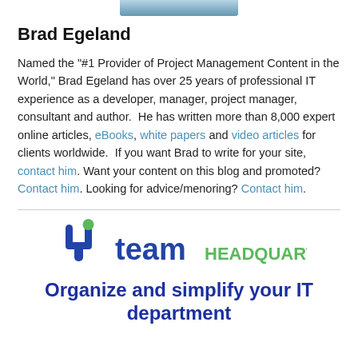[Figure (photo): Partial photo of Brad Egeland at the top of the page, cropped showing top of person in blue shirt]
Brad Egeland
Named the "#1 Provider of Project Management Content in the World," Brad Egeland has over 25 years of professional IT experience as a developer, manager, project manager, consultant and author.  He has written more than 8,000 expert online articles, eBooks, white papers and video articles for clients worldwide.  If you want Brad to write for your site, contact him. Want your content on this blog and promoted? Contact him. Looking for advice/menoring? Contact him.
[Figure (logo): Team Headquarters logo with fork/tuning fork icon in blue with green dot, 'team' in blue and 'HEADQUARTERS' in green text]
Organize and simplify your IT department